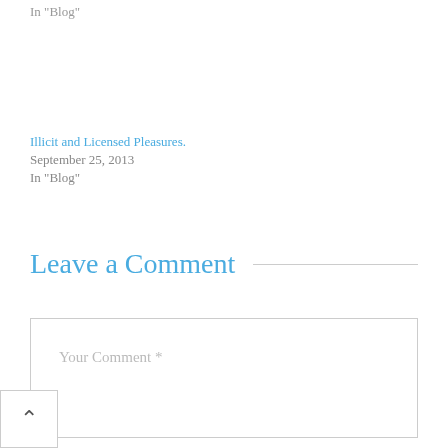In "Blog"
Illicit and Licensed Pleasures.
September 25, 2013
In "Blog"
Leave a Comment
Your Comment *